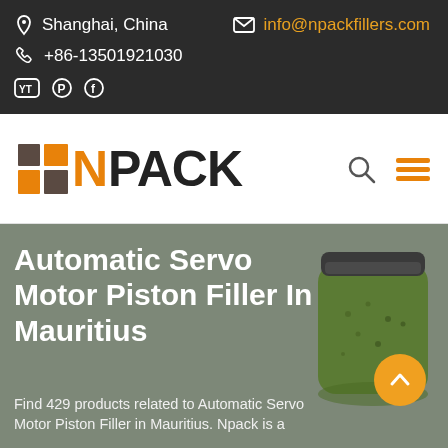Shanghai, China | info@npackfillers.com | +86-13501921030
[Figure (logo): Npack logo with colored squares and N PACK text]
Automatic Servo Motor Piston Filler In Mauritius
Find 429 products related to Automatic Servo Motor Piston Filler in Mauritius. Npack is a